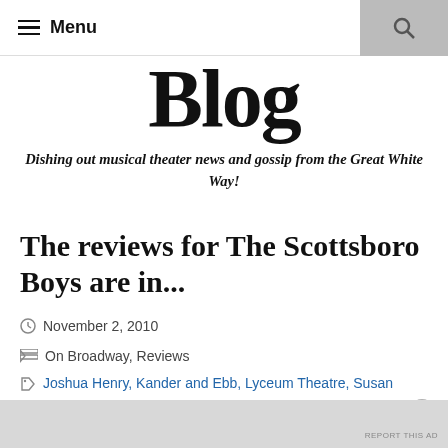Menu
Blog
Dishing out musical theater news and gossip from the Great White Way!
The reviews for The Scottsboro Boys are in...
November 2, 2010
On Broadway, Reviews
Joshua Henry, Kander and Ebb, Lyceum Theatre, Susan
Advertisements